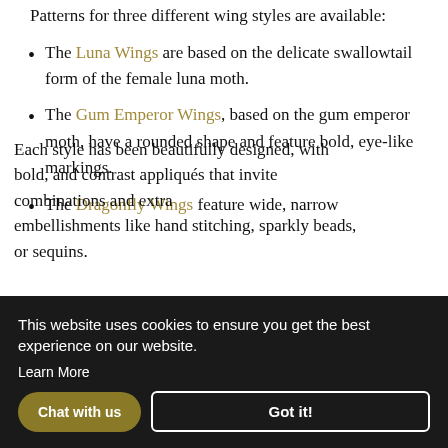Patterns for three different wing styles are available:
The Luna Wings are based on the delicate swallowtail form of the female luna moth.
The Gum Emperor Wings, based on the gum emperor moth, have a rounded shape and feature bold, eye-like markings.
The Dragonfly Wings feature wide, narrow …
Each style has been beautifully designed, with bold, and contrast appliqués that invite combinations and extra embellishments like hand stitching, sparkly beads, or sequins.
This website uses cookies to ensure you get the best experience on our website. Learn More
Got it!
Chat with us